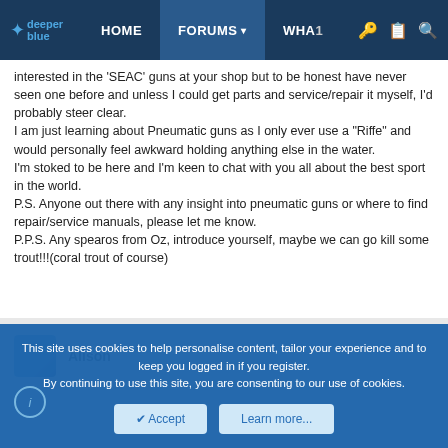DeeperBlue | HOME | FORUMS | WHAT
interested in the 'SEAC' guns at your shop but to be honest have never seen one before and unless I could get parts and service/repair it myself, I'd probably steer clear.
I am just learning about Pneumatic guns as I only ever use a "Riffe" and would personally feel awkward holding anything else in the water.
I'm stoked to be here and I'm keen to chat with you all about the best sport in the world.
P.S. Anyone out there with any insight into pneumatic guns or where to find repair/service manuals, please let me know.
P.P.S. Any spearos from Oz, introduce yourself, maybe we can go kill some trout!!!(coral trout of course)
Alison
This site uses cookies to help personalise content, tailor your experience and to keep you logged in if you register.
By continuing to use this site, you are consenting to our use of cookies.
Accept   Learn more...